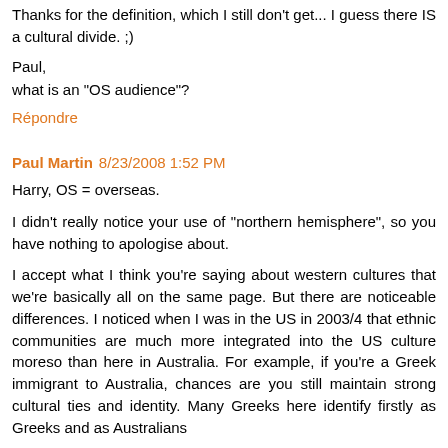Thanks for the definition, which I still don't get... I guess there IS a cultural divide. ;)
Paul,
what is an "OS audience"?
Répondre
Paul Martin  8/23/2008 1:52 PM
Harry, OS = overseas.
I didn't really notice your use of "northern hemisphere", so you have nothing to apologise about.
I accept what I think you're saying about western cultures that we're basically all on the same page. But there are noticeable differences. I noticed when I was in the US in 2003/4 that ethnic communities are much more integrated into the US culture moreso than here in Australia. For example, if you're a Greek immigrant to Australia, chances are you still maintain strong cultural ties and identity. Many Greeks here identify firstly as Greeks and as Australians